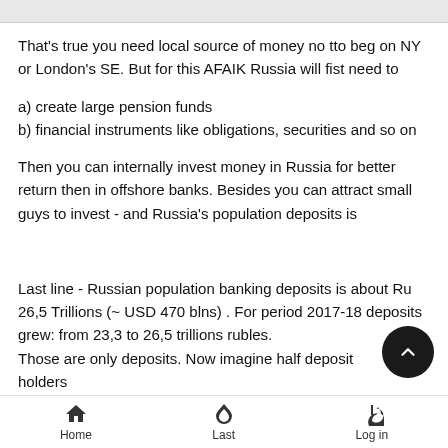That's true you need local source of money no tto beg on NY or London's SE. But for this AFAIK Russia will fist need to
a) create large pension funds
b) financial instruments like obligations, securities and so on
Then you can internally invest money in Russia for better return then in offshore banks. Besides you can attract small guys to invest - and Russia's population deposits is
Last line - Russian population banking deposits is about Ru 26,5 Trillions (~ USD 470 blns) . For period 2017-18 deposits grew: from 23,3 to 26,5 trillions rubles. Those are only deposits. Now imagine half deposit holders to invest their money in economy. i guess this is the way Putin
Home   Last   Log in